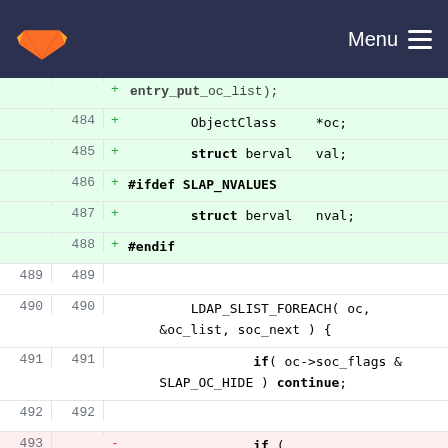GitLab navigation bar with logo and Menu button
[Figure (screenshot): Code diff view showing changes to a C source file. Lines 484-495 shown with added (green) and removed (red) highlighting. Added lines include ObjectClass *oc, struct berval val, #ifdef SLAP_NVALUES, struct berval nval, #endif. Lines 489-492 show LDAP_SLIST_FOREACH and if conditions. Line 493 shows a removed line with vals and an added line with &val in ldap_objectclass2bv calls. Lines 494-495 show return -1 and closing brace.]